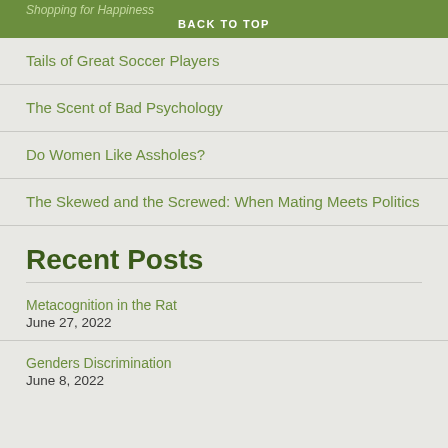Shopping for Happiness | BACK TO TOP
Tails of Great Soccer Players
The Scent of Bad Psychology
Do Women Like Assholes?
The Skewed and the Screwed: When Mating Meets Politics
Recent Posts
Metacognition in the Rat
June 27, 2022
Genders Discrimination
June 8, 2022